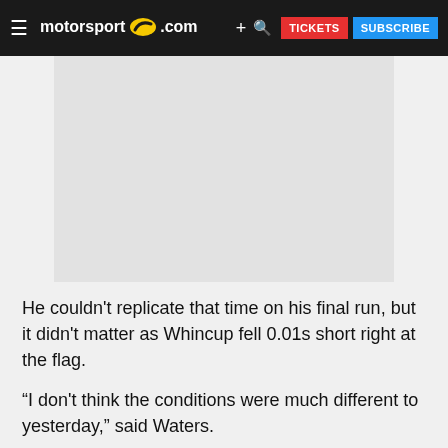motorsport.com  TICKETS  SUBSCRIBE
[Figure (photo): Gray placeholder image for a motorsport photo]
He couldn't replicate that time on his final run, but it didn't matter as Whincup fell 0.01s short right at the flag.
“I don't think the conditions were much different to yesterday,” said Waters.
“I did that time on a roaded tyre, so I think there’s a little bit in that when we change to fresh tyres tomorrow.